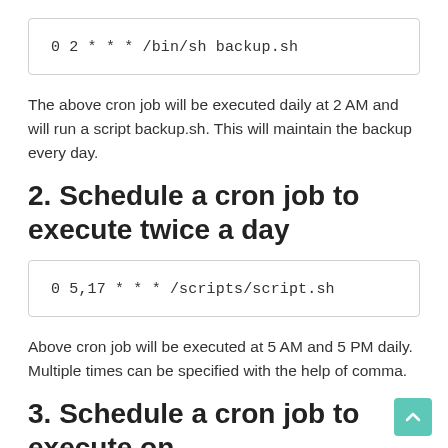[Figure (other): Code box showing cron job: 0 2 * * * /bin/sh backup.sh]
The above cron job will be executed daily at 2 AM and will run a script backup.sh. This will maintain the backup every day.
2. Schedule a cron job to execute twice a day
[Figure (other): Code box showing cron job: 0 5,17 * * * /scripts/script.sh]
Above cron job will be executed at 5 AM and 5 PM daily. Multiple times can be specified with the help of comma.
3. Schedule a cron job to execute on